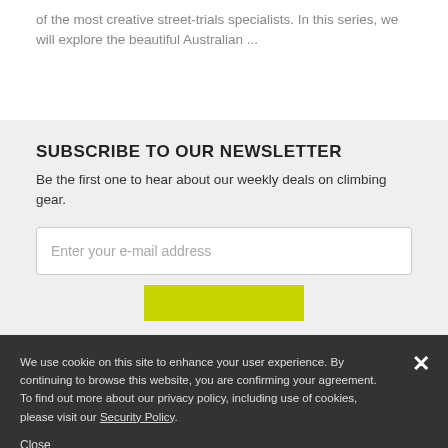of the most creative street-trials specialists. In this series, we will explore the beautiful Australian ...
SUBSCRIBE TO OUR NEWSLETTER
Be the first one to hear about our weekly deals on climbing gear.
Enter your e-mail address
We use cookie on this site to enhance your user experience. By continuing to browse this website, you are confirming your agreement. To find out more about our privacy policy, including use of cookies, please visit our Security Policy.
Close